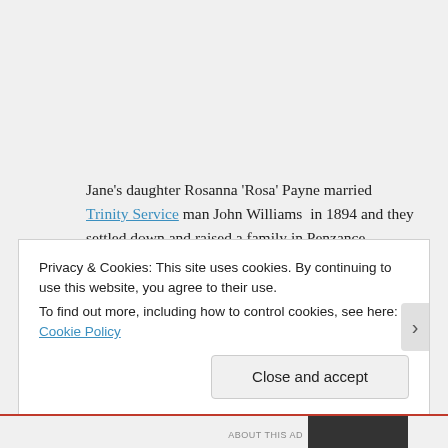Jane's daughter Rosanna 'Rosa' Payne married Trinity Service man John Williams in 1894 and they settled down and raised a family in Penzance.
Middle child Jane Payne became a pupil teacher (1891) and by 1901 was a teacher in Penzance. I know of no marriage for her but in 1911 I find her a schoolmistress in Saltash, Cornwall, with her sister Emma and family
Privacy & Cookies: This site uses cookies. By continuing to use this website, you agree to their use.
To find out more, including how to control cookies, see here: Cookie Policy